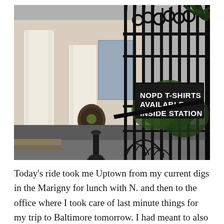[Figure (photo): Outdoor photo of an ornate black wrought-iron gate in front of a building with white columns. A black sign on the gate reads 'NOPD T-SHIRTS AVAILABLE INSIDE STATION' in white text. A small bollard is visible in the foreground. Greenery and palm trees in the background.]
Today's ride took me Uptown from my current digs in the Marigny for lunch with N. and then to the office where I took care of last minute things for my trip to Baltimore tomorrow. I had meant to also stop by the courthouse as